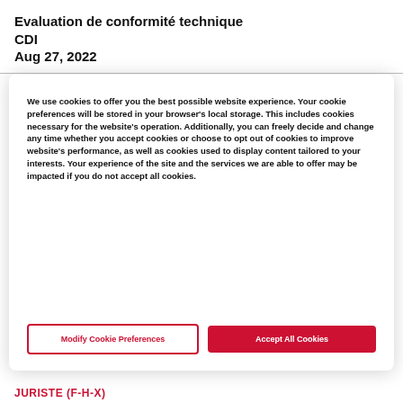Evaluation de conformité technique
CDI
Aug 27, 2022
We use cookies to offer you the best possible website experience. Your cookie preferences will be stored in your browser's local storage. This includes cookies necessary for the website's operation. Additionally, you can freely decide and change any time whether you accept cookies or choose to opt out of cookies to improve website's performance, as well as cookies used to display content tailored to your interests. Your experience of the site and the services we are able to offer may be impacted if you do not accept all cookies.
Modify Cookie Preferences
Accept All Cookies
JURISTE (F-H-X)